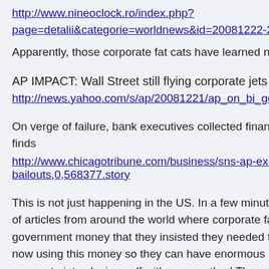http://www.nineoclock.ro/index.php?page=detalii&categorie=worldnews&id=20081222-2032
Apparently, those corporate fat cats have learned noth
AP IMPACT: Wall Street still flying corporate jets
http://news.yahoo.com/s/ap/20081221/ap_on_bi_ge/m
On verge of failure, bank executives collected financial finds
http://www.chicagotribune.com/business/sns-ap-execu bailouts,0,568377.story
This is not just happening in the US. In a few minutes s of articles from around the world where corporate fat government money that they insisted they needed to c now using this money so they can have enormous bon corporate jets playing golf with one another! These sa count their underlings bathroom breaks and dock them